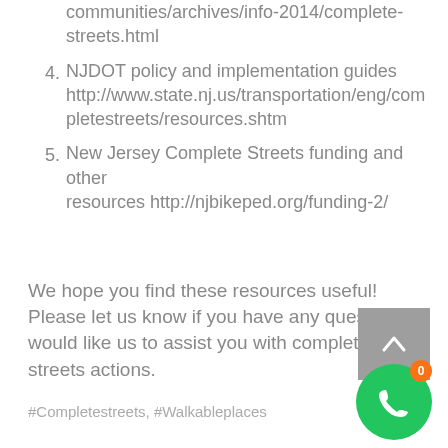communities/archives/info-2014/complete-streets.html
4. NJDOT policy and implementation guides http://www.state.nj.us/transportation/eng/completestreets/resources.shtm
5. New Jersey Complete Streets funding and other resources http://njbikeped.org/funding-2/
We hope you find these resources useful! Please let us know if you have any questions or would like us to assist you with complete streets actions.
#Completestreets, #Walkableplaces